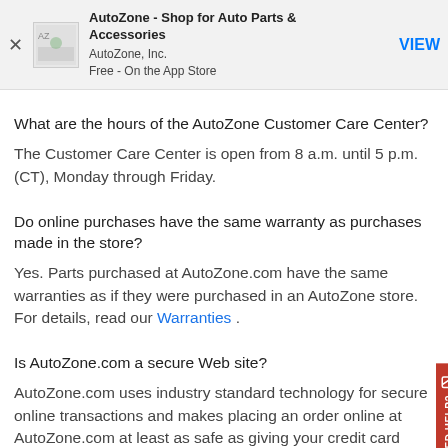[Figure (screenshot): App Store banner with AZ logo, title 'AutoZone - Shop for Auto Parts & Accessories', publisher 'AutoZone, Inc.', 'Free - On the App Store', and a VIEW button]
What are the hours of the AutoZone Customer Care Center?
The Customer Care Center is open from 8 a.m. until 5 p.m. (CT), Monday through Friday.
Do online purchases have the same warranty as purchases made in the store?
Yes. Parts purchased at AutoZone.com have the same warranties as if they were purchased in an AutoZone store. For details, read our Warranties .
Is AutoZone.com a secure Web site?
AutoZone.com uses industry standard technology for secure online transactions and makes placing an order online at AutoZone.com at least as safe as giving your credit card